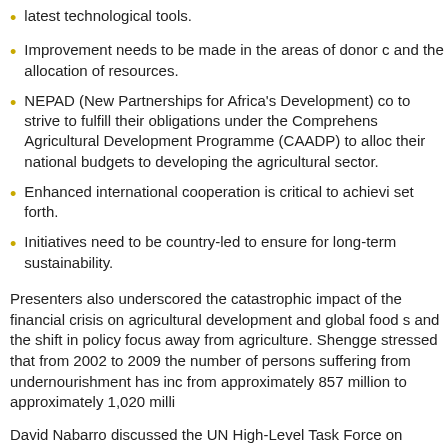latest technological tools.
Improvement needs to be made in the areas of donor c and the allocation of resources.
NEPAD (New Partnerships for Africa's Development) co to strive to fulfill their obligations under the Comprehens Agricultural Development Programme (CAADP) to alloc their national budgets to developing the agricultural sector.
Enhanced international cooperation is critical to achievi set forth.
Initiatives need to be country-led to ensure for long-term sustainability.
Presenters also underscored the catastrophic impact of the financial crisis on agricultural development and global food s and the shift in policy focus away from agriculture. Shengge stressed that from 2002 to 2009 the number of persons suffering from undernourishment has inc from approximately 857 million to approximately 1,020 milli
David Nabarro discussed the UN High-Level Task Force on Global food Security Crisis' Comprehensive Framework for launched in July 2008, which strives to realize many of the s objectives articulated in the CSD-17 outcome document. i